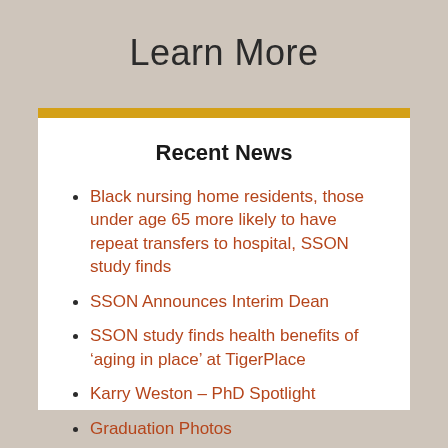Learn More
Recent News
Black nursing home residents, those under age 65 more likely to have repeat transfers to hospital, SSON study finds
SSON Announces Interim Dean
SSON study finds health benefits of ‘aging in place’ at TigerPlace
Karry Weston – PhD Spotlight
Graduation Photos